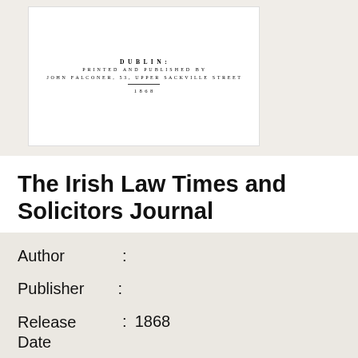[Figure (photo): Scanned title page of a book showing: DUBLIN: PRINTED AND PUBLISHED BY JOHN FALCONER, 53, UPPER SACKVILLE STREET 1868]
The Irish Law Times and Solicitors Journal
| Field | Separator | Value |
| --- | --- | --- |
| Author | : |  |
| Publisher | : |  |
| Release Date | : | 1868 |
| ISBN 10 | : |  |